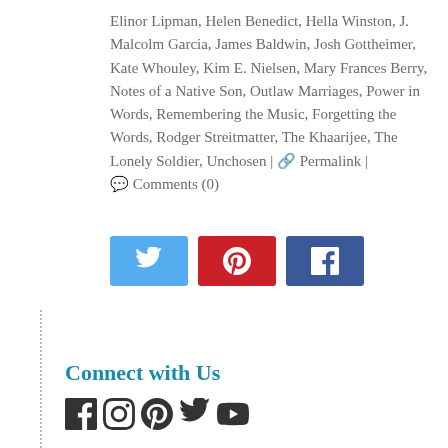Elinor Lipman, Helen Benedict, Hella Winston, J. Malcolm Garcia, James Baldwin, Josh Gottheimer, Kate Whouley, Kim E. Nielsen, Mary Frances Berry, Notes of a Native Son, Outlaw Marriages, Power in Words, Remembering the Music, Forgetting the Words, Rodger Streitmatter, The Khaarijee, The Lonely Soldier, Unchosen | 🔗 Permalink | 💬 Comments (0)
[Figure (other): Social share buttons: Twitter (blue), Pinterest (red), Facebook (dark blue)]
Connect with Us
[Figure (other): Social media icons: Facebook, Instagram, Pinterest, Twitter, YouTube]